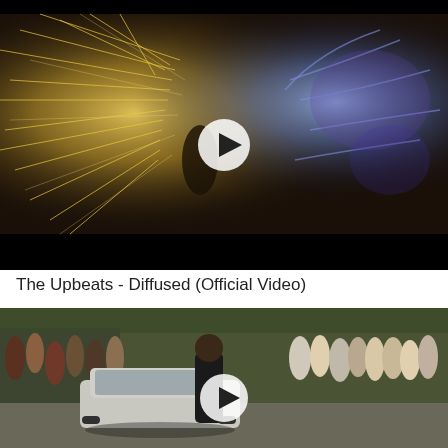[Figure (screenshot): Video thumbnail showing a dark fantasy/animated scene with a figure in the center emitting golden light streaks on the left side and blue/purple energy effects on the right side against a black background. A circular white play button overlay is centered on the image.]
The Upbeats - Diffused (Official Video)
[Figure (screenshot): Video thumbnail showing a crowd of people gathered outdoors on a road or street. A dark luxury car is visible in the center-left. A man stands in the foreground center. A circular white play button overlay is centered on the image.]